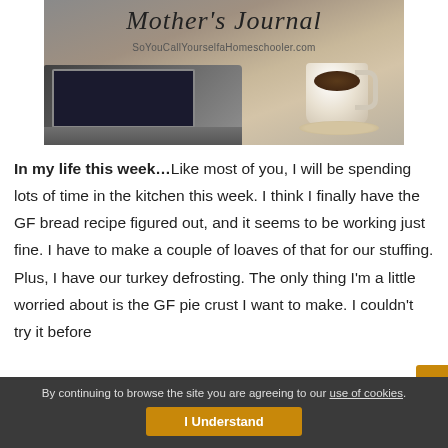[Figure (photo): Blog header image showing a laptop and coffee cup on a desk with cursive text reading 'Mother's Journal' and subtitle 'SoYouCallYourselfaHomeschooler.com']
In my life this week…Like most of you, I will be spending lots of time in the kitchen this week. I think I finally have the GF bread recipe figured out, and it seems to be working just fine. I have to make a couple of loaves of that for our stuffing. Plus, I have our turkey defrosting. The only thing I'm a little worried about is the GF pie crust I want to make. I couldn't try it before
By continuing to browse the site you are agreeing to our use of cookies.
I Understand